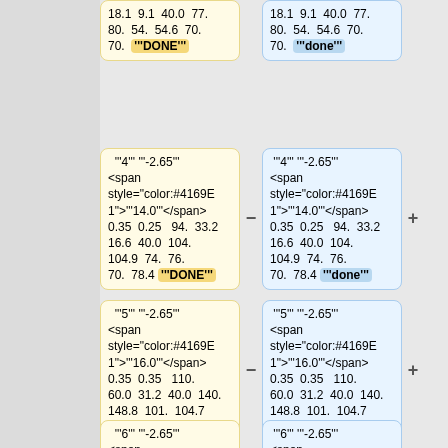18.1  9.1  40.0  77. 80.  54.  54.6  70. 70. '''DONE'''
18.1  9.1  40.0  77. 80.  54.  54.6  70. 70. '''done'''
'''4''' '''-2.65''' <span style="color:#4169E1">'''14.0'''</span> 0.35  0.25   94.  33.2  16.6  40.0  104.  104.9  74.  76. 70.  78.4 '''DONE'''
'''4''' '''-2.65''' <span style="color:#4169E1">'''14.0'''</span> 0.35  0.25   94.  33.2  16.6  40.0  104.  104.9  74.  76. 70.  78.4 '''done'''
'''5''' '''-2.65''' <span style="color:#4169E1">'''16.0'''</span> 0.35  0.35   110.  60.0  31.2  40.0  140.  148.8  101.  104.7  70.  70.5 '''DONE'''
'''5''' '''-2.65''' <span style="color:#4169E1">'''16.0'''</span> 0.35  0.35   110.  60.0  31.2  40.0  140.  148.8  101.  104.7  70.  70.5 '''done'''
'''6''' '''-2.65''' <span style="color:#4169E1">'''18.0'''</span>
'''6''' '''-2.65''' <span style="color:#4169E1">'''18.0'''</span>